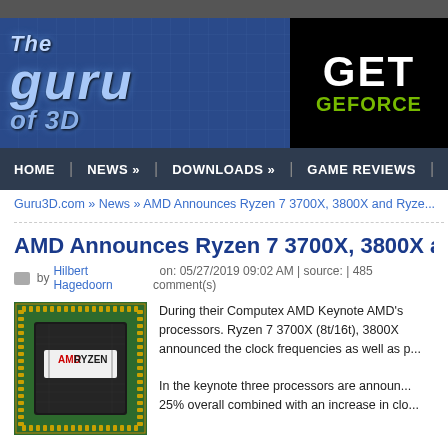[Figure (logo): The Guru of 3D website logo banner with blue circuit board background]
[Figure (logo): NVIDIA advertisement box showing GET GEFORCE text in black background]
HOME | NEWS » | DOWNLOADS » | GAME REVIEWS | ARTICLES »
Guru3D.com » News » AMD Announces Ryzen 7 3700X, 3800X and Ryze...
AMD Announces Ryzen 7 3700X, 3800X and Ryze...
by Hilbert Hagedoorn on: 05/27/2019 09:02 AM | source: | 485 comment(s)
[Figure (photo): AMD Ryzen processor chip (green PCB with gold pins, AMD RYZEN branding visible)]
During their Computex AMD Keynote AMD's... processors. Ryzen 7 3700X (8t/16t), 3800X ... announced the clock frequencies as well as p...
In the keynote three processors are announ... 25% overall combined with an increase in clo...
Ryzen 7 3700X
Ryzen 7 3800X